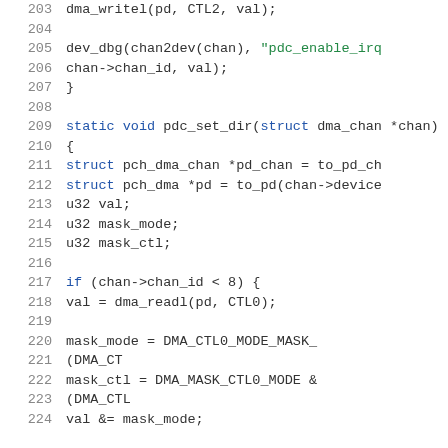[Figure (screenshot): Source code listing showing C code for DMA channel direction setting, lines 203-224, with syntax highlighting: line numbers in gray, keywords in blue, string literals in green, other code in dark/black.]